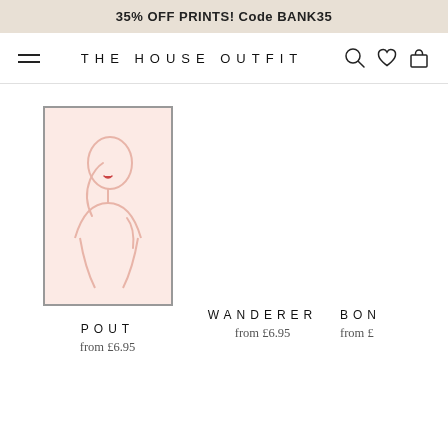35% OFF PRINTS! Code BANK35
THE HOUSE OUTFIT
[Figure (illustration): A framed art print with a pink background showing a minimalist line drawing of a woman with red lips, seated pose with one arm raised]
POUT
from £6.95
WANDERER
from £6.95
BON
from £